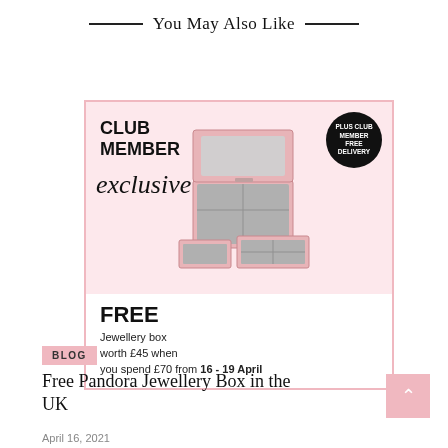You May Also Like
[Figure (photo): Club Member exclusive promo card with pink jewellery box image, FREE offer text, and PLUS CLUB MEMBER FREE DELIVERY badge]
BLOG
Free Pandora Jewellery Box in the UK
April 16, 2021